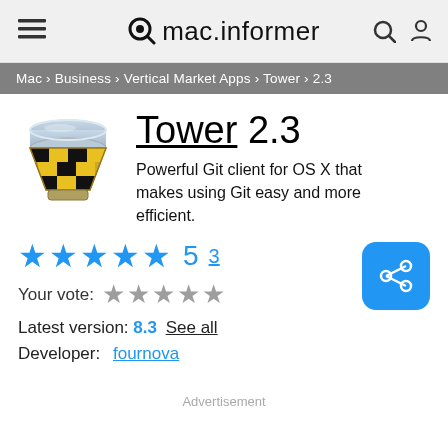mac.informer
Mac > Business > Vertical Market Apps > Tower > 2.3
Tower 2.3
Powerful Git client for OS X that makes using Git easy and more efficient.
★★★★★ 5  3
Your vote: ★★★★★
Latest version:  8.3  See all
Developer:  fournova
Advertisement